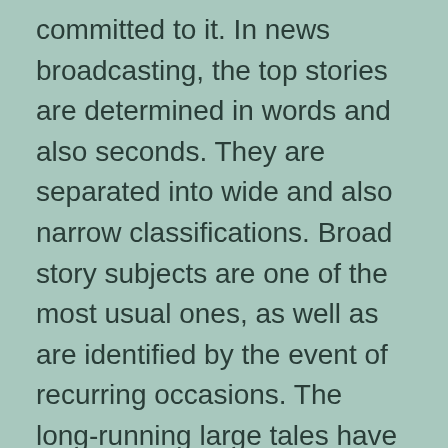committed to it. In news broadcasting, the top stories are determined in words and also seconds. They are separated into wide and also narrow classifications. Broad story subjects are one of the most usual ones, as well as are identified by the event of recurring occasions. The long-running large tales have a sub-storyline, or multiple tales. The geographical emphasis is the location in which the story has particular value.
The value of size in news has actually been noted in multiple researches. While the term “size” usually refers to great deals, it can